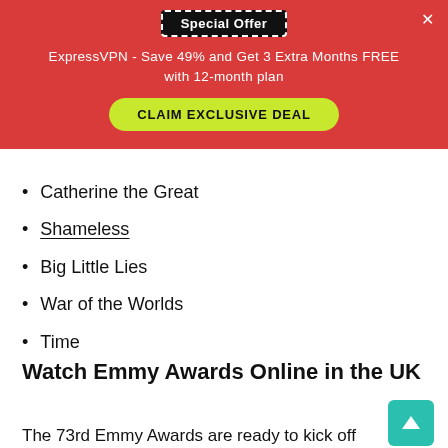[Figure (screenshot): Red promotional banner with 'Special Offer' badge, ExpressVPN discount text, and yellow 'CLAIM EXCLUSIVE DEAL' button]
Catherine the Great
Shameless
Big Little Lies
War of the Worlds
Time
Watch Emmy Awards Online in the UK
The 73rd Emmy Awards are ready to kick off